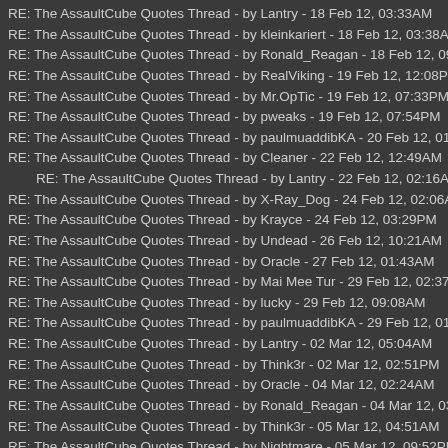RE: The AssaultCube Quotes Thread - by Lantry - 18 Feb 12, 03:33AM
RE: The AssaultCube Quotes Thread - by kleinkariert - 18 Feb 12, 03:38AM
RE: The AssaultCube Quotes Thread - by Ronald_Reagan - 18 Feb 12, 09:50P
RE: The AssaultCube Quotes Thread - by RealViking - 19 Feb 12, 12:08PM
RE: The AssaultCube Quotes Thread - by Mr.OpTic - 19 Feb 12, 07:33PM
RE: The AssaultCube Quotes Thread - by pweaks - 19 Feb 12, 07:54PM
RE: The AssaultCube Quotes Thread - by paulmuaddibKA - 20 Feb 12, 01:35P
RE: The AssaultCube Quotes Thread - by Cleaner - 22 Feb 12, 12:49AM
RE: The AssaultCube Quotes Thread - by Lantry - 22 Feb 12, 02:16AM
RE: The AssaultCube Quotes Thread - by X-Ray_Dog - 24 Feb 12, 02:06AM
RE: The AssaultCube Quotes Thread - by Krayce - 24 Feb 12, 03:29PM
RE: The AssaultCube Quotes Thread - by Undead - 26 Feb 12, 10:21AM
RE: The AssaultCube Quotes Thread - by Oracle - 27 Feb 12, 01:43AM
RE: The AssaultCube Quotes Thread - by Mai Mee Tur - 29 Feb 12, 02:37AM
RE: The AssaultCube Quotes Thread - by lucky - 29 Feb 12, 09:08AM
RE: The AssaultCube Quotes Thread - by paulmuaddibKA - 29 Feb 12, 01:55P
RE: The AssaultCube Quotes Thread - by Lantry - 02 Mar 12, 05:04AM
RE: The AssaultCube Quotes Thread - by Think3r - 02 Mar 12, 02:51PM
RE: The AssaultCube Quotes Thread - by Oracle - 04 Mar 12, 02:24AM
RE: The AssaultCube Quotes Thread - by Ronald_Reagan - 04 Mar 12, 03:36A
RE: The AssaultCube Quotes Thread - by Think3r - 05 Mar 12, 04:51AM
RE: The AssaultCube Quotes Thread - by Nightmare - 05 Mar 12, 09:52PM
RE: The AssaultCube Quotes Thread - by Marti - 05 Mar 12, 11:02PM
RE: The AssaultCube Quotes Thread - by MykeGregory - 07 Mar 12, 12:31AM
RE: The AssaultCube Quotes Thread - by paulmuaddibKA - 07 Mar 12, 01:5